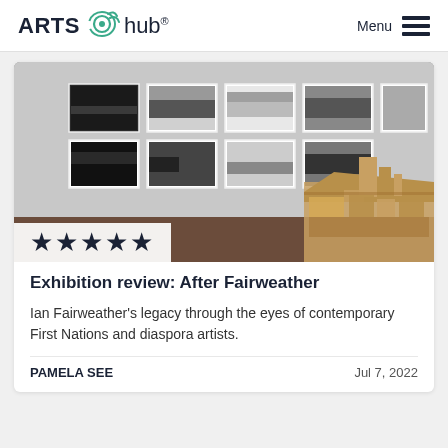ARTS hub® Menu
[Figure (photo): Gallery installation photo showing a grid of black-and-white landscape photographs mounted on a white wall, with a wooden architectural model/sculpture in the foreground.]
★★★★★
Exhibition review: After Fairweather
Ian Fairweather's legacy through the eyes of contemporary First Nations and diaspora artists.
PAMELA SEE    Jul 7, 2022